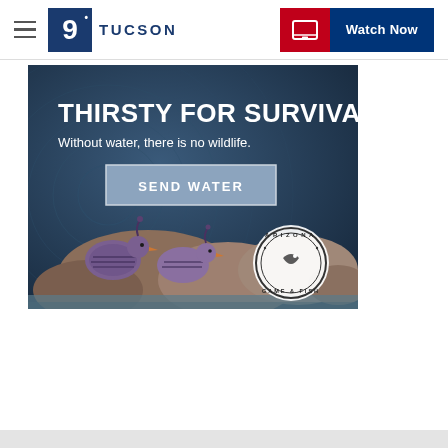9 TUCSON | Watch Now
[Figure (illustration): Advertisement for Arizona Game and Fish Department. Dark blue swirling background with text 'THIRSTY FOR SURVIVAL' in large bold white letters, subtitle 'Without water, there is no wildlife.' and a button labeled 'SEND WATER'. Bottom half shows quail birds drinking water from rocks with the Arizona Game & Fish circular logo badge.]